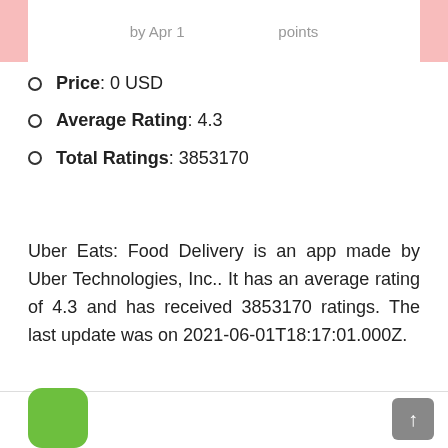by Apr 1 ... points
Price: 0 USD
Average Rating: 4.3
Total Ratings: 3853170
Uber Eats: Food Delivery is an app made by Uber Technologies, Inc.. It has an average rating of 4.3 and has received 3853170 ratings. The last update was on 2021-06-01T18:17:01.000Z.
Get App Here
[Figure (illustration): Green rounded square app icon at bottom left corner, partially visible]